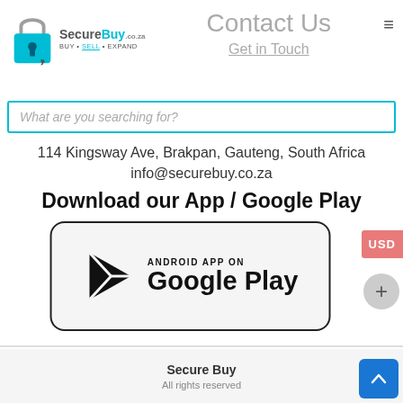SecureBuy - BUY • SELL • EXPAND
Contact Us
Get in Touch
What are you searching for?
114 Kingsway Ave, Brakpan, Gauteng, South Africa info@securebuy.co.za
Download our App / Google Play
[Figure (logo): Google Play Store badge showing Android Play icon and text 'ANDROID APP ON Google Play']
Secure Buy
All rights reserved